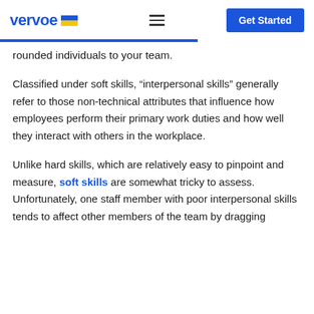vervoe | Get Started
rounded individuals to your team.
Classified under soft skills, “interpersonal skills” generally refer to those non-technical attributes that influence how employees perform their primary work duties and how well they interact with others in the workplace.
Unlike hard skills, which are relatively easy to pinpoint and measure, soft skills are somewhat tricky to assess. Unfortunately, one staff member with poor interpersonal skills tends to affect other members of the team by dragging